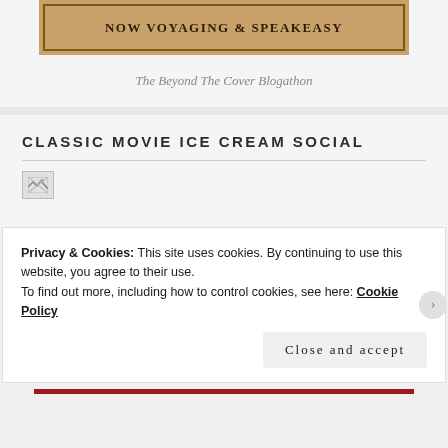[Figure (photo): Banner image with text NOW VOYAGING & SPEAKEASY on a textured golden/brown background]
The Beyond The Cover Blogathon
CLASSIC MOVIE ICE CREAM SOCIAL
[Figure (photo): Broken image placeholder icon]
Privacy & Cookies: This site uses cookies. By continuing to use this website, you agree to their use.
To find out more, including how to control cookies, see here: Cookie Policy
Close and accept